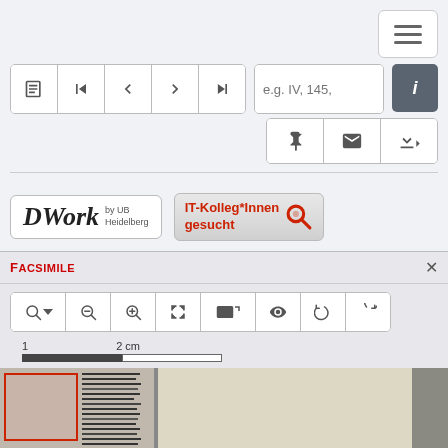[Figure (screenshot): DWork digital library interface screenshot with navigation toolbar, search input, action buttons, logo, IT-Kolleg*Innen gesucht banner, Facsimile viewer panel with zoom toolbar, scale bar, and manuscript page thumbnails]
FACSIMILE
1  2 cm
[Figure (photo): Manuscript page thumbnails: left section shows a page with red rectangle overlay and dense text columns, center shows blank parchment, right shows dark binding edge]